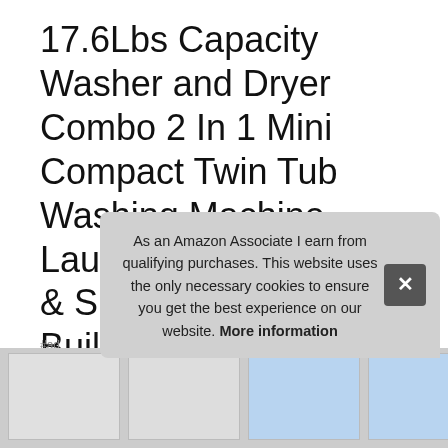17.6Lbs Capacity Washer and Dryer Combo 2 In 1 Mini Compact Twin Tub Washing Machine Laundry Washer11Lbs & Spinner6.6Lbs with Built-in Gravity Drain Pump,Low Noise and Easy Store for Apartment,Dorms,RV Campinggrey+white
#ad
As an Amazon Associate I earn from qualifying purchases. This website uses the only necessary cookies to ensure you get the best experience on our website. More information